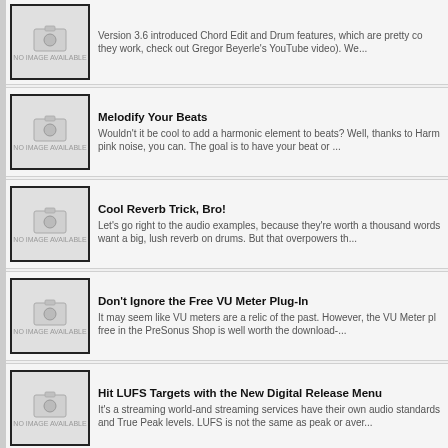...they work, check out Gregor Beyerle's YouTube video). We...
Melodify Your Beats
Wouldn't it be cool to add a harmonic element to beats? Well, thanks to Harm pink noise, you can. The goal is to have your beat or ...
Cool Reverb Trick, Bro!
Let's go right to the audio examples, because they're worth a thousand words want a big, lush reverb on drums. But that overpowers th...
Don't Ignore the Free VU Meter Plug-In
It may seem like VU meters are a relic of the past. However, the VU Meter pl free in the PreSonus Shop is well worth the download-...
Hit LUFS Targets with the New Digital Release Menu
It's a streaming world-and streaming services have their own audio standards and True Peak levels. LUFS is not the same as peak or aver...
Studio One 5.5 Mastering with Perry Sorensen (Head of Mastering America)
Perry Sorensen, Head of Mastering for NAXOS of America, gives us his favo
Happytwobehere with PreSonus
Happytwobehere is a duo from Covington, Louisiana comprised of two young (vocals) and Lillian Stegen (drums, keyboard, programming, produc...